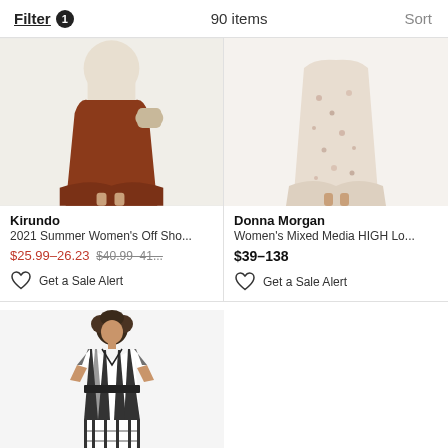Filter 1   90 items   Sort
[Figure (photo): Partial view of a woman wearing a dark rust/brown maxi skirt with a woven bag, cropped at torso]
[Figure (photo): Partial view of a woman wearing a floral midi skirt, cropped at torso and legs]
Kirundo
2021 Summer Women's Off Sho...
$25.99–26.23 $40.99–41...
Donna Morgan
Women's Mixed Media HIGH Lo...
$39–138
Get a Sale Alert
Get a Sale Alert
[Figure (photo): Woman wearing a black and white striped wrap dress with short sleeves, full body shot]
London Times